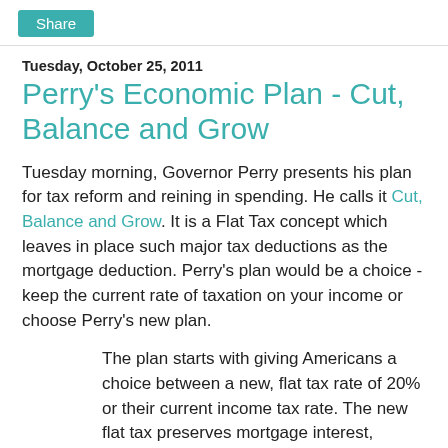Share
Tuesday, October 25, 2011
Perry's Economic Plan - Cut, Balance and Grow
Tuesday morning, Governor Perry presents his plan for tax reform and reining in spending. He calls it Cut, Balance and Grow. It is a Flat Tax concept which leaves in place such major tax deductions as the mortgage deduction. Perry's plan would be a choice - keep the current rate of taxation on your income or choose Perry's new plan.
The plan starts with giving Americans a choice between a new, flat tax rate of 20% or their current income tax rate. The new flat tax preserves mortgage interest, charitable and state and local tax exemptions for families earning less than $500,000 annually, and it increases the standard deduction to $12,500 for individuals and